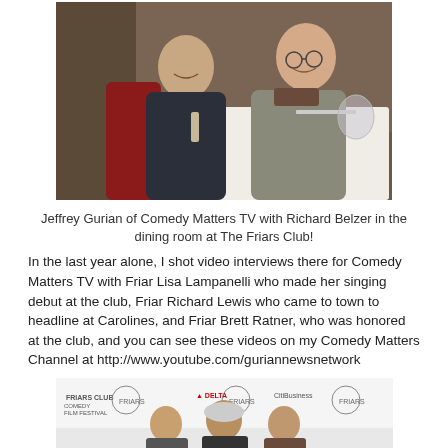[Figure (photo): Two people seated at a restaurant dining table, smiling at the camera. One man in a dark jacket on the left, another person in a houndstooth jacket on the right.]
Jeffrey Gurian of Comedy Matters TV with Richard Belzer in the dining room at The Friars Club!
In the last year alone, I shot video interviews there for Comedy Matters TV with Friar Lisa Lampanelli who made her singing debut at the club, Friar Richard Lewis who came to town to headline at Carolines, and Friar Brett Ratner, who was honored at the club, and you can see these videos on my Comedy Matters Channel at http://www.youtube.com/guriannewsnetwork
[Figure (photo): Group of people standing in front of a step-and-repeat banner with Friars Club Comedy Film Festival, Delta, and CitiBank logos.]